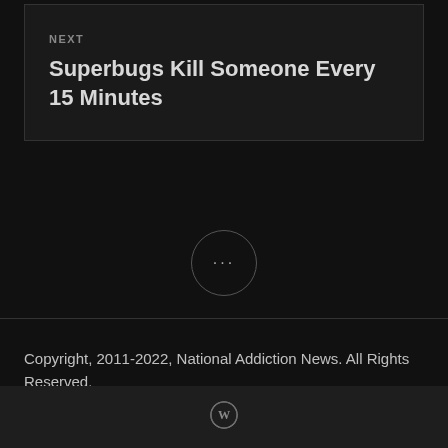NEXT
Superbugs Kill Someone Every 15 Minutes
[Figure (other): Circular button with three dots (ellipsis) indicating more content or actions]
Copyright, 2011-2022, National Addiction News. All Rights Reserved.
[Figure (logo): WordPress logo in circular icon form at the bottom bar]